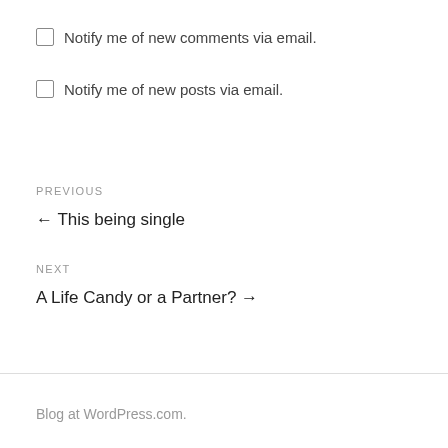Notify me of new comments via email.
Notify me of new posts via email.
PREVIOUS
← This being single
NEXT
A Life Candy or a Partner? →
Blog at WordPress.com.